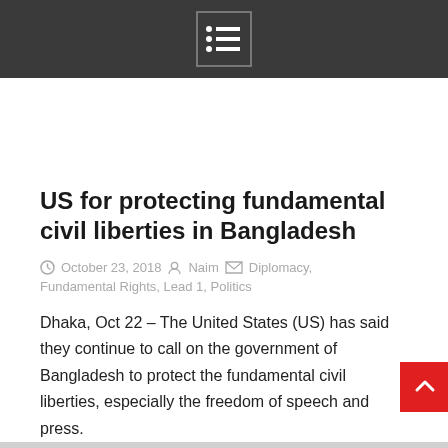Menu icon / navigation bar
US for protecting fundamental civil liberties in Bangladesh
October 23, 2018  Naim  Diplomacy, Fundamental Rights, Lead 1, Politics
Dhaka, Oct 22 – The United States (US) has said they continue to call on the government of Bangladesh to protect the fundamental civil liberties, especially the freedom of speech and press.